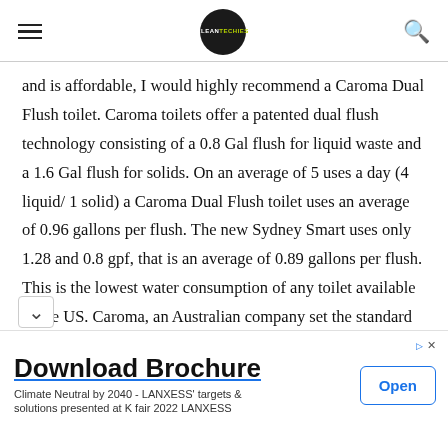CLEANTECHIES (logo) [hamburger menu] [search icon]
and is affordable, I would highly recommend a Caroma Dual Flush toilet. Caroma toilets offer a patented dual flush technology consisting of a 0.8 Gal flush for liquid waste and a 1.6 Gal flush for solids. On an average of 5 uses a day (4 liquid/ 1 solid) a Caroma Dual Flush toilet uses an average of 0.96 gallons per flush. The new Sydney Smart uses only 1.28 and 0.8 gpf, that is an average of 0.89 gallons per flush. This is the lowest water consumption of any toilet available in the US. Caroma, an Australian company set the standard by giving the world its first successful two button dual system in the nineteen eighties and has since perfected the
[Figure (other): Advertisement banner: Download Brochure - Climate Neutral by 2040 - LANXESS targets & solutions presented at K fair 2022 LANXESS, with an Open button]